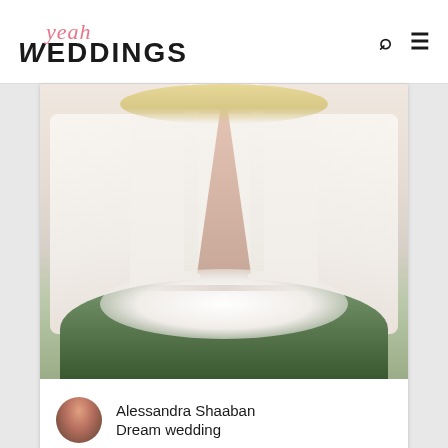yeah WEDDINGS
[Figure (photo): Close-up photo of a bride wearing a white long-sleeve lace wedding dress with a deep V-neckline, holding a bouquet of white flowers and greenery. The background is softly blurred.]
Alessandra Shaaban
Dream wedding